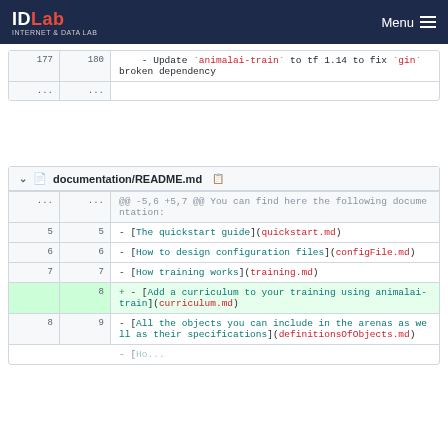IDLab INTERNET & DATA LAB   Menu
[Figure (screenshot): Git diff snippet showing line 177/180: Update animalai-train to tf 1.14 to fix gin broken dependency]
[Figure (screenshot): Git diff of documentation/README.md showing added line 8: [Add a curriculum to your training using animalai-train](curriculum.md)]